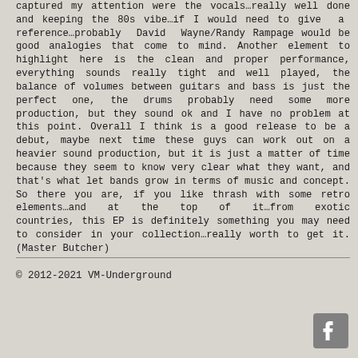captured my attention were the vocals…really well done and keeping the 80s vibe…if I would need to give a reference…probably David Wayne/Randy Rampage would be good analogies that come to mind. Another element to highlight here is the clean and proper performance, everything sounds really tight and well played, the balance of volumes between guitars and bass is just the perfect one, the drums probably need some more production, but they sound ok and I have no problem at this point. Overall I think is a good release to be a debut, maybe next time these guys can work out on a heavier sound production, but it is just a matter of time because they seem to know very clear what they want, and that's what let bands grow in terms of music and concept. So there you are, if you like thrash with some retro elements…and at the top of it…from exotic countries, this EP is definitely something you may need to consider in your collection…really worth to get it. (Master Butcher)
© 2012-2021 VM-Underground